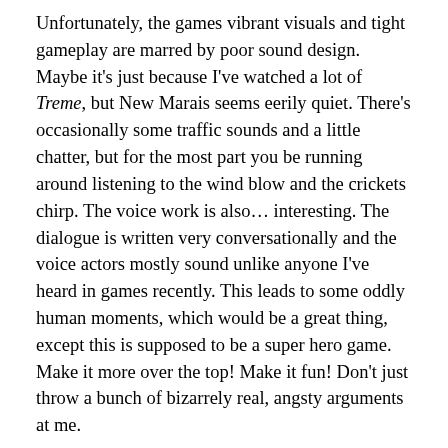Unfortunately, the games vibrant visuals and tight gameplay are marred by poor sound design. Maybe it's just because I've watched a lot of Treme, but New Marais seems eerily quiet. There's occasionally some traffic sounds and a little chatter, but for the most part you be running around listening to the wind blow and the crickets chirp. The voice work is also… interesting. The dialogue is written very conversationally and the voice actors mostly sound unlike anyone I've heard in games recently. This leads to some oddly human moments, which would be a great thing, except this is supposed to be a super hero game. Make it more over the top! Make it fun! Don't just throw a bunch of bizarrely real, angsty arguments at me.
I did genuinely enjoy the story, however, despite it taking maybe a little too long to get where it needed to go. But the ending is pretty impressive, regardless if you